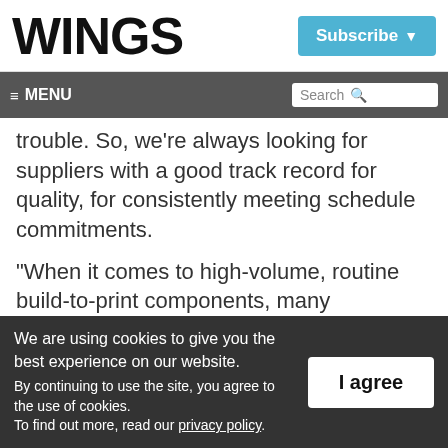WINGS
Subscribe
≡ MENU  Search
trouble. So, we're always looking for suppliers with a good track record for quality, for consistently meeting schedule commitments.
“When it comes to high-volume, routine build-to-print components, many aerospace manufacturers source them overseas as
We are using cookies to give you the best experience on our website. By continuing to use the site, you agree to the use of cookies. To find out more, read our privacy policy.
I agree